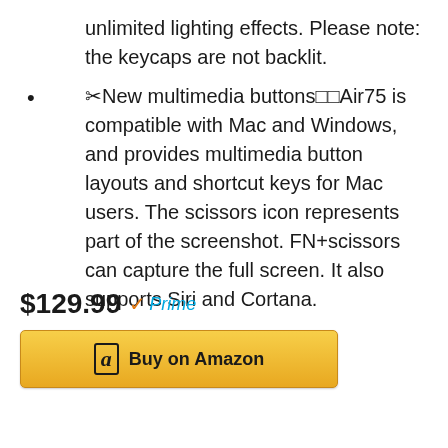unlimited lighting effects. Please note: the keycaps are not backlit.
✂️New multimedia buttons🔲🔲Air75 is compatible with Mac and Windows, and provides multimedia button layouts and shortcut keys for Mac users. The scissors icon represents part of the screenshot. FN+scissors can capture the full screen. It also supports Siri and Cortana.
$129.99 Prime
Buy on Amazon